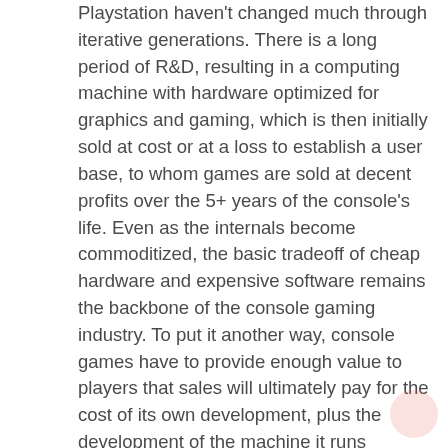Playstation haven't changed much through iterative generations. There is a long period of R&D, resulting in a computing machine with hardware optimized for graphics and gaming, which is then initially sold at cost or at a loss to establish a user base, to whom games are sold at decent profits over the 5+ years of the console's life. Even as the internals become commoditized, the basic tradeoff of cheap hardware and expensive software remains the backbone of the console gaming industry. To put it another way, console games have to provide enough value to players that sales will ultimately pay for the cost of its own development, plus the development of the machine it runs on{{1}}. The business of smartphones and tablets is a mirror opposite: the hardware cycles are yearly (or even shorter), the processing improvements are incremental though rapid, but the software is cheap or free. The role of app ecosystems are to sell phones: it's in each handset maker's best interest to